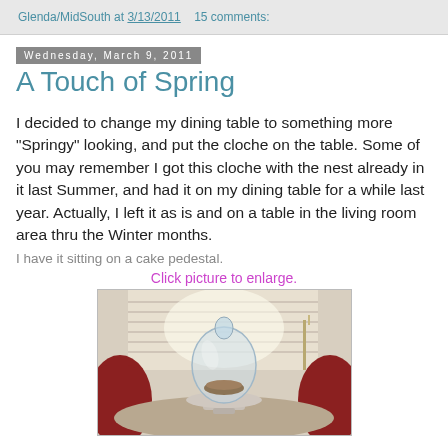Glenda/MidSouth at 3/13/2011   15 comments:
Wednesday, March 9, 2011
A Touch of Spring
I decided to change my dining table to something more "Springy" looking, and put the cloche on the table. Some of you may remember I got this cloche with the nest already in it last Summer, and had it on my dining table for a while last year. Actually, I left it as is and on a table in the living room area thru the Winter months.
I have it sitting on a cake pedestal.
Click picture to enlarge.
[Figure (photo): A glass cloche with a decorative nest inside, sitting on a cake pedestal on a dining table, with red chairs and a bright window in the background.]